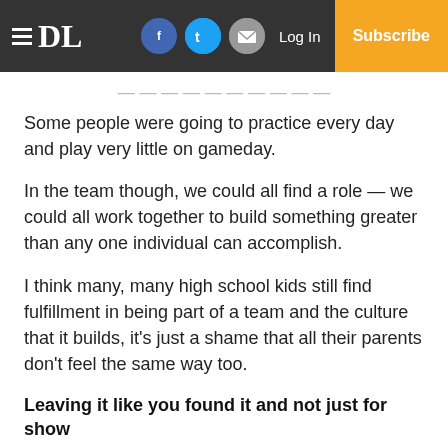≡ DL  Log In  Subscribe
Some people were going to practice every day and play very little on gameday.
In the team though, we could all find a role — we could all work together to build something greater than any one individual can accomplish.
I think many, many high school kids still find fulfillment in being part of a team and the culture that it builds, it's just a shame that all their parents don't feel the same way too.
Leaving it like you found it and not just for show